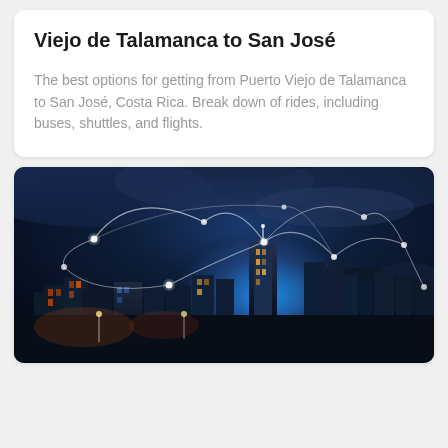Viejo de Talamanca to San José
The best options for getting from Puerto Viejo de Talamanca to San José, Costa Rica. Break down of rides, including buses, shuttles, and flights.
[Figure (photo): Night cityscape with glowing blue network connection arcs over a dense urban skyline, dramatic cloudy sky]